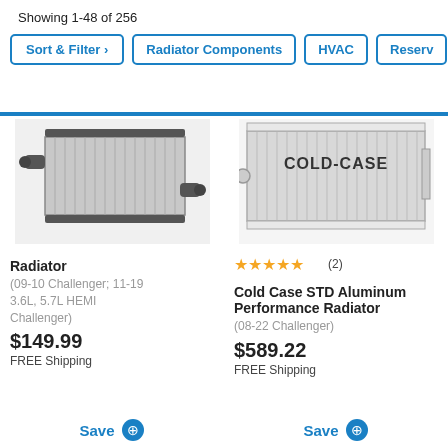Showing 1-48 of 256
Sort & Filter >
Radiator Components
HVAC
Reserv…
[Figure (photo): Silver automotive radiator with black fittings on left and right sides]
Radiator
(09-10 Challenger; 11-19 3.6L, 5.7L HEMI Challenger)
$149.99
FREE Shipping
[Figure (photo): Cold Case branded silver aluminum performance radiator with COLD-CASE text on top]
★★★★★ (2)
Cold Case STD Aluminum Performance Radiator
(08-22 Challenger)
$589.22
FREE Shipping
Save
Save